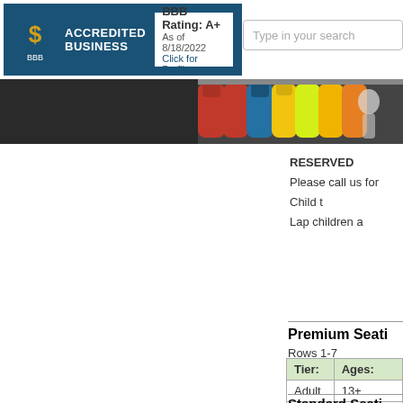[Figure (logo): BBB Accredited Business badge with A+ rating as of 8/18/2022]
Type in your search
[Figure (photo): Colorful life jackets hanging on a rack]
RESERVED
Please call us for
Child t
Lap children a
Premium Seati
Rows 1-7
| Tier: | Ages: |
| --- | --- |
| Adult | 13+ |
| Child | 12 and u |
Standard Seati